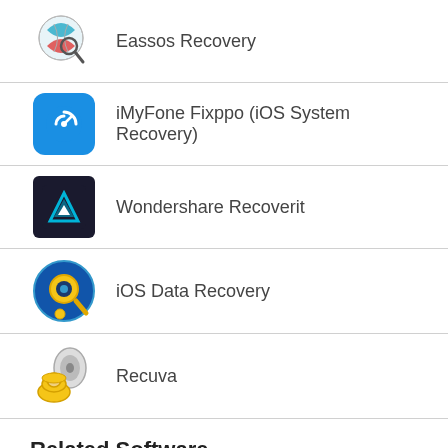Eassos Recovery
iMyFone Fixppo (iOS System Recovery)
Wondershare Recoverit
iOS Data Recovery
Recuva
Related Software
Driver Doctor
DRIVER DOCOLINE. Windows needs a driver to make communication between your hardware and